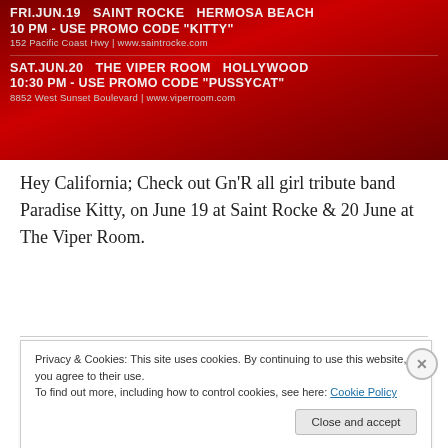[Figure (photo): Red promotional banner for Paradise Kitty shows listing two events: FRI.JUN.19 at Saint Rocke, Hermosa Beach, 10 PM, promo code KITTY, 152 Pacific Coast Hwy, www.saintrocke.com; and SAT.JUN.20 at The Viper Room, Hollywood, 10:30 PM, promo code PUSSYCAT, 8852 West Sunset Boulevard, www.viperroom.com]
Hey California; Check out Gn'R all girl tribute band Paradise Kitty, on June 19 at Saint Rocke & 20 June at The Viper Room.
Privacy & Cookies: This site uses cookies. By continuing to use this website, you agree to their use.
To find out more, including how to control cookies, see here: Cookie Policy